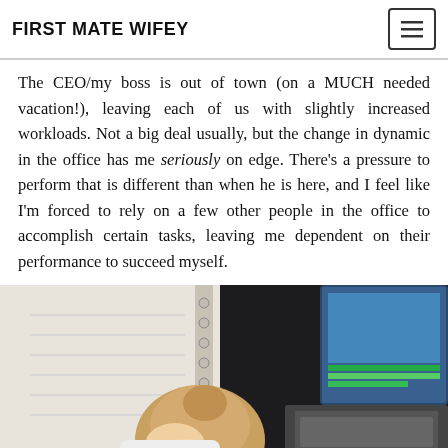FIRST MATE WIFEY
The CEO/my boss is out of town (on a MUCH needed vacation!), leaving each of us with slightly increased workloads. Not a big deal usually, but the change in dynamic in the office has me seriously on edge. There’s a pressure to perform that is different than when he is here, and I feel like I’m forced to rely on a few other people in the office to accomplish certain tasks, leaving me dependent on their performance to succeed myself.
[Figure (photo): Woman with blonde hair in a bun, head resting on her hand, sitting in front of an open planner and a laptop on a dark desk, viewed from above/behind.]